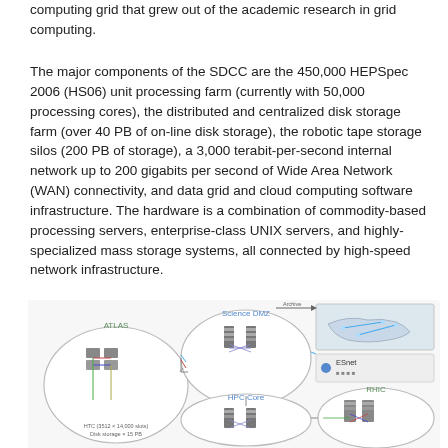computing grid that grew out of the academic research in grid computing.
The major components of the SDCC are the 450,000 HEPSpec 2006 (HS06) unit processing farm (currently with 50,000 processing cores), the distributed and centralized disk storage farm (over 40 PB of on-line disk storage), the robotic tape storage silos (200 PB of storage), a 3,000 terabit-per-second internal network up to 200 gigabits per second of Wide Area Network (WAN) connectivity, and data grid and cloud computing software infrastructure. The hardware is a combination of commodity-based processing servers, enterprise-class UNIX servers, and highly-specialized mass storage systems, all connected by high-speed network infrastructure.
[Figure (schematic): Network/infrastructure diagram showing SDCC components including ATLAS, Science DMZ, HPC Core, ESnet, and RHIC interconnected with network lines and server rack icons.]